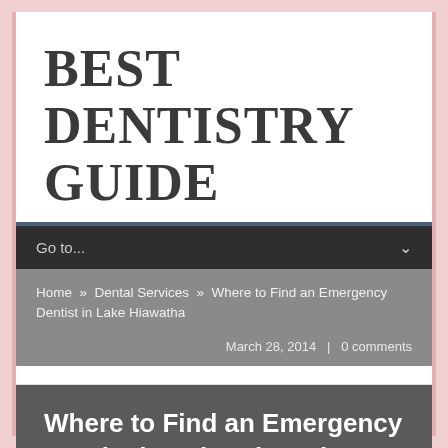BEST DENTISTRY GUIDE
Go to...
Home » Dental Services » Where to Find an Emergency Dentist in Lake Hiawatha
March 28, 2014  |  0 comments
Where to Find an Emergency Dentist in Lake Hiawatha